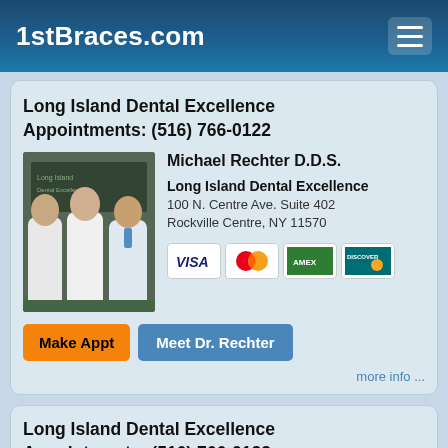1stBraces.com
Long Island Dental Excellence
Appointments: (516) 766-0122
[Figure (photo): Three men in white lab coats standing together in a dental office]
Michael Rechter D.D.S.
Long Island Dental Excellence
100 N. Centre Ave. Suite 402
Rockville Centre, NY 11570
[Figure (other): Payment method icons: Visa, MasterCard, American Express, Discover]
Make Appt   Meet Dr. Rechter
more info ...
Long Island Dental Excellence
Appointments: (516) 766-0122
Demetrios Tsiokos D.D.S.